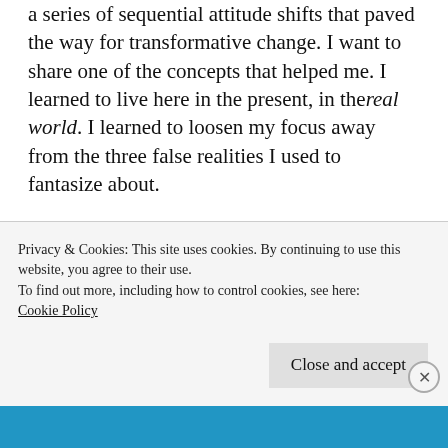a series of sequential attitude shifts that paved the way for transformative change. I want to share one of the concepts that helped me. I learned to live here in the present, in the real world. I learned to loosen my focus away from the three false realities I used to fantasize about.
The Real World
Privacy & Cookies: This site uses cookies. By continuing to use this website, you agree to their use.
To find out more, including how to control cookies, see here: Cookie Policy